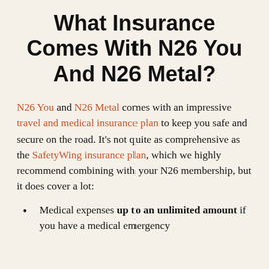What Insurance Comes With N26 You And N26 Metal?
N26 You and N26 Metal comes with an impressive travel and medical insurance plan to keep you safe and secure on the road. It's not quite as comprehensive as the SafetyWing insurance plan, which we highly recommend combining with your N26 membership, but it does cover a lot:
Medical expenses up to an unlimited amount if you have a medical emergency